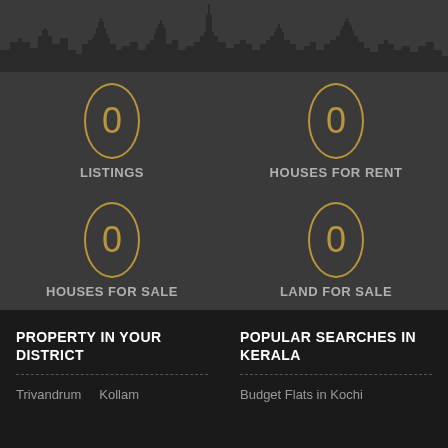[Figure (illustration): Dark city skyline silhouette at top of page]
0 LISTINGS
0 HOUSES FOR RENT
0 HOUSES FOR SALE
0 LAND FOR SALE
PROPERTY IN YOUR DISTRICT
POPULAR SEARCHES IN KERALA
Trivandrum    Kollam
Budget Flats in Kochi